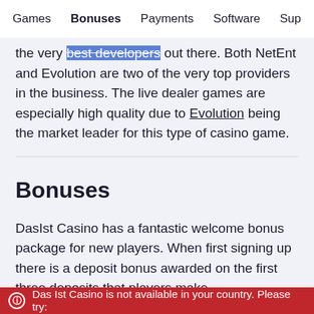Games  Bonuses  Payments  Software  Sup
the very best developers out there. Both NetEnt and Evolution are two of the very top providers in the business. The live dealer games are especially high quality due to Evolution being the market leader for this type of casino game.
Bonuses
DasIst Casino has a fantastic welcome bonus package for new players. When first signing up there is a deposit bonus awarded on the first three deposits that players make.
The first deposit gives players a 100% matched bonus of up to €100 and 100 free spins. The
Das Ist Casino is not available in your country. Please try: